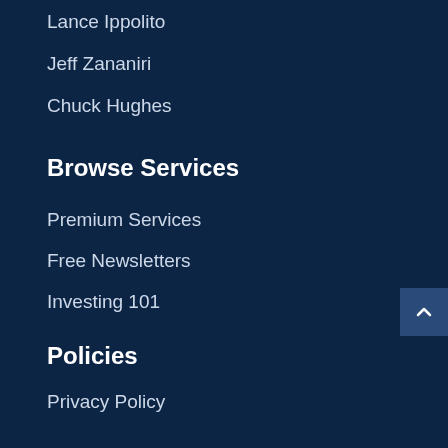Lance Ippolito
Jeff Zananiri
Chuck Hughes
Browse Services
Premium Services
Free Newsletters
Investing 101
Policies
Privacy Policy
Disclaimer
Terms of Service